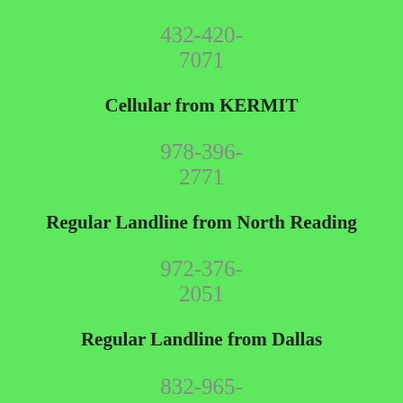432-420-7071
Cellular from KERMIT
978-396-2771
Regular Landline from North Reading
972-376-2051
Regular Landline from Dallas
832-965-5581
Voice over Internet Protocol (VoIP) from Bammel
336-298-